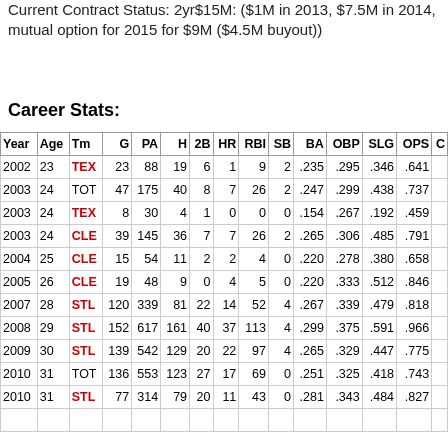Current Contract Status: 2yr$15M: ($1M in 2013, $7.5M in 2014, mutual option for 2015 for $9M ($4.5M buyout))
Career Stats:
| Year | Age | Tm | G | PA | H | 2B | HR | RBI | SB | BA | OBP | SLG | OPS | C |
| --- | --- | --- | --- | --- | --- | --- | --- | --- | --- | --- | --- | --- | --- | --- |
| 2002 | 23 | TEX | 23 | 88 | 19 | 6 | 1 | 9 | 2 | .235 | .295 | .346 | .641 |  |
| 2003 | 24 | TOT | 47 | 175 | 40 | 8 | 7 | 26 | 2 | .247 | .299 | .438 | .737 |  |
| 2003 | 24 | TEX | 8 | 30 | 4 | 1 | 0 | 0 | 0 | .154 | .267 | .192 | .459 |  |
| 2003 | 24 | CLE | 39 | 145 | 36 | 7 | 7 | 26 | 2 | .265 | .306 | .485 | .791 |  |
| 2004 | 25 | CLE | 15 | 54 | 11 | 2 | 2 | 4 | 0 | .220 | .278 | .380 | .658 |  |
| 2005 | 26 | CLE | 19 | 48 | 9 | 0 | 4 | 5 | 0 | .220 | .333 | .512 | .846 |  |
| 2007 | 28 | STL | 120 | 339 | 81 | 22 | 14 | 52 | 4 | .267 | .339 | .479 | .818 |  |
| 2008 | 29 | STL | 152 | 617 | 161 | 40 | 37 | 113 | 4 | .299 | .375 | .591 | .966 |  |
| 2009 | 30 | STL | 139 | 542 | 129 | 20 | 22 | 97 | 4 | .265 | .329 | .447 | .775 |  |
| 2010 | 31 | TOT | 136 | 553 | 123 | 27 | 17 | 69 | 0 | .251 | .325 | .418 | .743 |  |
| 2010 | 31 | STL | 77 | 314 | 79 | 20 | 11 | 43 | 0 | .281 | .343 | .484 | .827 |  |
|  |  |  |  |  |  |  |  |  |  |  |  |  |  |  |